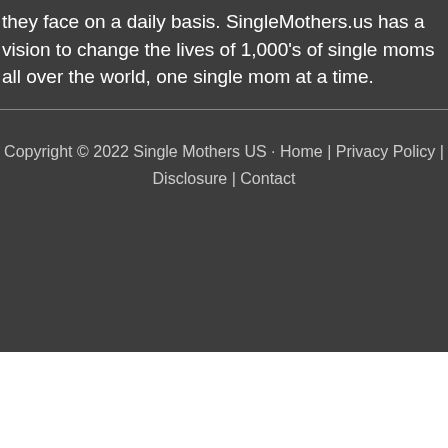they face on a daily basis. SingleMothers.us has a vision to change the lives of 1,000's of single moms all over the world, one single mom at a time.
Copyright © 2022 Single Mothers US · Home | Privacy Policy | Disclosure | Contact